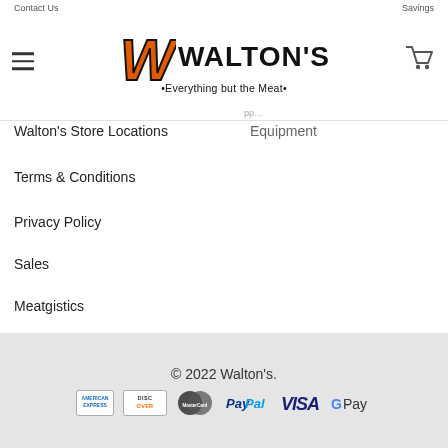Contact us  Savings
[Figure (logo): Walton's logo with orange W and text 'WALTON'S *Everything but the Meat*']
Walton's Store Locations
Equipment
Terms & Conditions
Privacy Policy
Sales
Meatgistics
More...
Summer Sale!
Sitemap
© 2022 Walton's.
[Figure (logo): Payment icons: American Express, Discover, MasterCard, PayPal, VISA, G Pay]